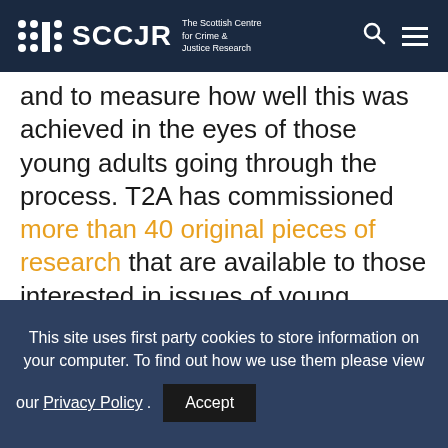SCCJR The Scottish Centre for Crime & Justice Research
and to measure how well this was achieved in the eyes of those young adults going through the process. T2A has commissioned more than 40 original pieces of research that are available to those interested in issues of young people's transition to adulthood and the implications of this for criminal justice
This site uses first party cookies to store information on your computer. To find out how we use them please view our Privacy Policy. Accept